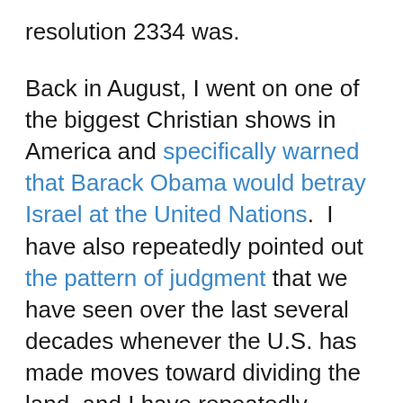resolution 2334 was.
Back in August, I went on one of the biggest Christian shows in America and specifically warned that Barack Obama would betray Israel at the United Nations.  I have also repeatedly pointed out the pattern of judgment that we have seen over the last several decades whenever the U.S. has made moves toward dividing the land, and I have repeatedly warned about what will happen when our government is involved in officially dividing the land of Israel and establishing a Palestinian state.
I cannot understand why more Christian leaders are not getting extremely upset about this.  They know that the Bible says that God